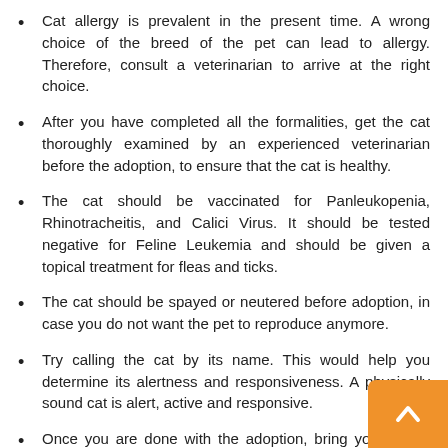Cat allergy is prevalent in the present time. A wrong choice of the breed of the pet can lead to allergy. Therefore, consult a veterinarian to arrive at the right choice.
After you have completed all the formalities, get the cat thoroughly examined by an experienced veterinarian before the adoption, to ensure that the cat is healthy.
The cat should be vaccinated for Panleukopenia, Rhinotracheitis, and Calici Virus. It should be tested negative for Feline Leukemia and should be given a topical treatment for fleas and ticks.
The cat should be spayed or neutered before adoption, in case you do not want the pet to reproduce anymore.
Try calling the cat by its name. This would help you determine its alertness and responsiveness. A physically sound cat is alert, active and responsive.
Once you are done with the adoption, bring your cat to home and get ready to spend joyous time with it!